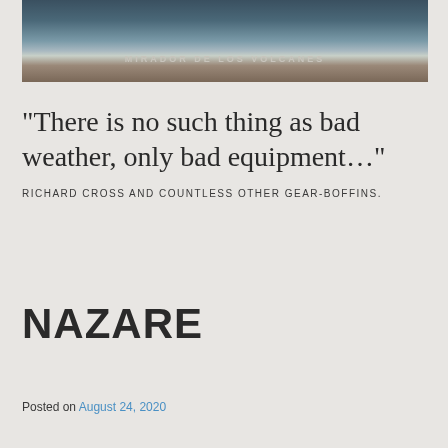[Figure (photo): A photograph of a sign reading 'MIRADOR DE LOS VOLCANES' with snowy or frost-covered mountains in the background]
“There is no such thing as bad weather, only bad equipment…”
RICHARD CROSS AND COUNTLESS OTHER GEAR-BOFFINS.
NAZARE
Posted on August 24, 2020